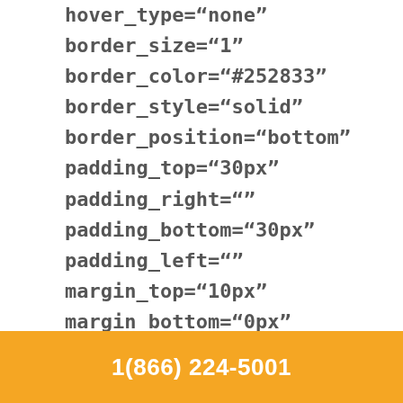hover_type="none"
border_size="1"
border_color="#252833"
border_style="solid"
border_position="bottom"
padding_top="30px"
padding_right=""
padding_bottom="30px"
padding_left=""
margin_top="10px"
margin_bottom="0px"
1(866) 224-5001